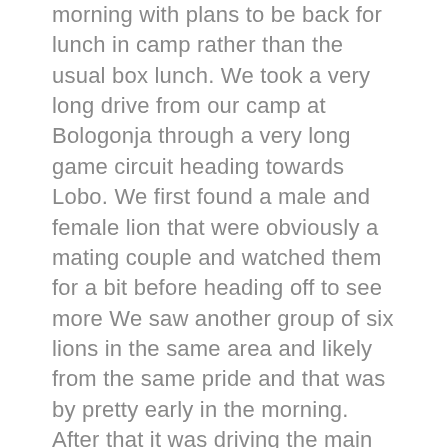morning with plans to be back for lunch in camp rather than the usual box lunch. We took a very long drive from our camp at Bologonja through a very long game circuit heading towards Lobo. We first found a male and female lion that were obviously a mating couple and watched them for a bit before heading off to see more We saw another group of six lions in the same area and likely from the same pride and that was by pretty early in the morning. After that it was driving the main game circuit to Lobo along some hills with breathtaking views of the Serengeti as far as the eye could see. In addition to the standard fare of antelope (wildebeest, hartabeest, thompson gazelle, topi, eland, impala and dik dik) we also saw lots of Cape buffalo and a few elephants. We also ran across vervet monkeys, baboons and both